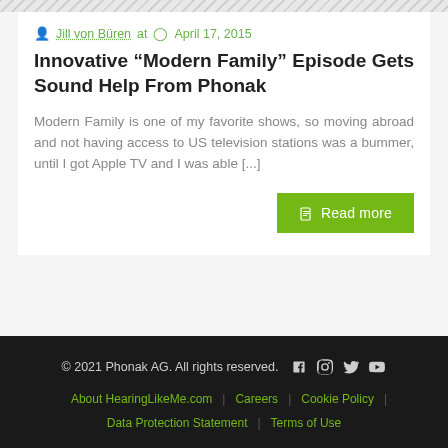Jill von Büren at  April 17, 2015
Innovative “Modern Family” Episode Gets Sound Help From Phonak
Modern Family is one of my favorite shows, so moving abroad and not having access to US television stations was a bummer, until I got Apple TV and I was able [...]
Read more
© 2021 Phonak AG. All rights reserved.   About HearingLikeMe.com | Careers | Cookie Policy | Data Protection Statement | Terms of Use